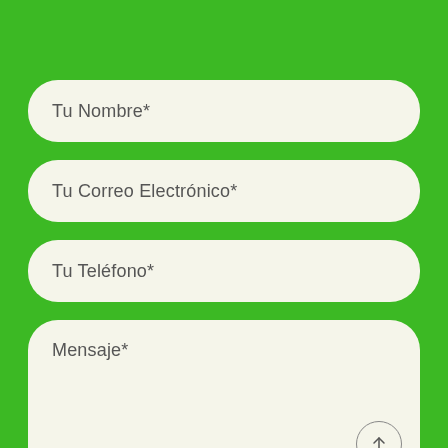Tu Nombre*
Tu Correo Electrónico*
Tu Teléfono*
Mensaje*